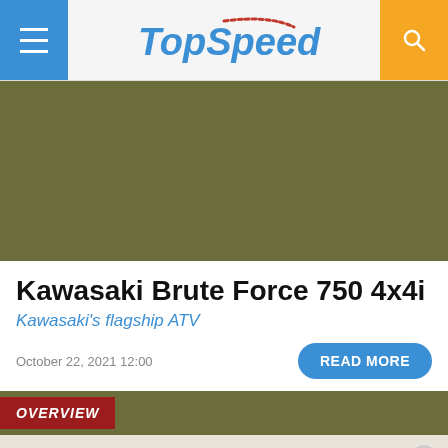TopSpeed
[Figure (photo): Dark olive/military green background image area for Kawasaki Brute Force 750 4x4i article hero image]
Kawasaki Brute Force 750 4x4i
Kawasaki's flagship ATV
October 22, 2021 12:00
READ MORE
OVERVIEW
[Figure (other): Advertisement area with close (X) button at bottom of page]